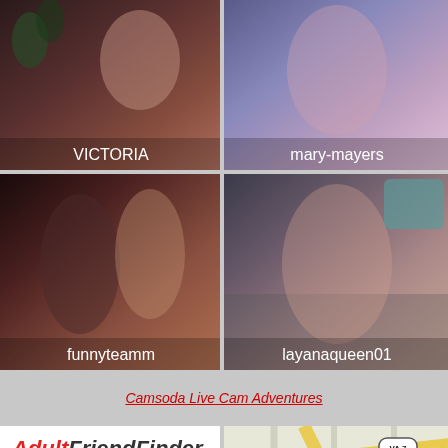[Figure (photo): Webcam thumbnail of performer named VICTORIA]
[Figure (photo): Webcam thumbnail of performer named mary-mayers]
[Figure (photo): Webcam thumbnail of performers named funnyteamm]
[Figure (photo): Webcam thumbnail of performer named layanaqueen01]
Camsoda Live Cam Adventures
[Figure (logo): AdultFriendFinder logo with text Find Fuck]
[Figure (map): Road map showing VA 267 and VA 7 roads]